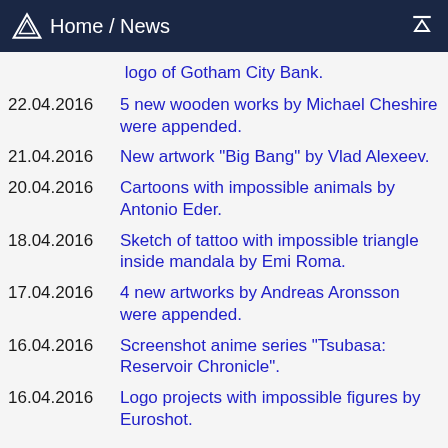Home / News
logo of Gotham City Bank.
22.04.2016 5 new wooden works by Michael Cheshire were appended.
21.04.2016 New artwork "Big Bang" by Vlad Alexeev.
20.04.2016 Cartoons with impossible animals by Antonio Eder.
18.04.2016 Sketch of tattoo with impossible triangle inside mandala by Emi Roma.
17.04.2016 4 new artworks by Andreas Aronsson were appended.
16.04.2016 Screenshot anime series "Tsubasa: Reservoir Chronicle".
16.04.2016 Logo projects with impossible figures by Euroshot.